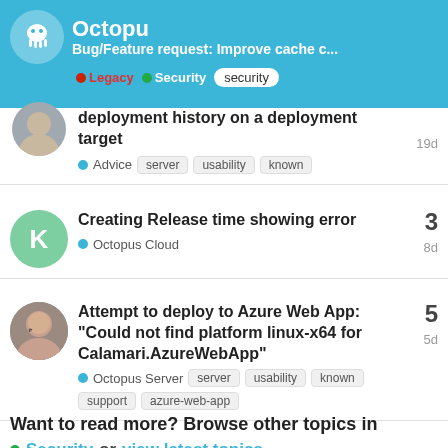Bug/Feature request: Improve cache c... | Octopu | Legacy Security security
deployment history on a deployment target
Advice  server  usability  known  19d
Creating Release time showing error  3  Octopus Cloud  8d
Attempt to deploy to Azure Web App: "Could not find platform linux-x64 for Calamari.AzureWebApp"  5  Octopus Server  server  usability  known  support  azure-web-app  5d
Want to read more? Browse other topics in Security or view latest topics.